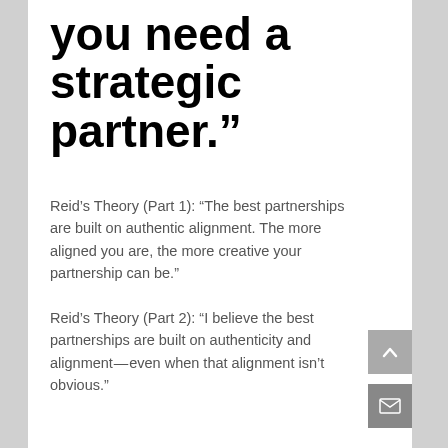you need a strategic partner.”
Reid’s Theory (Part 1): “The best partnerships are built on authentic alignment. The more aligned you are, the more creative your partnership can be.”
Reid’s Theory (Part 2): “I believe the best partnerships are built on authenticity and alignment — even when that alignment isn’t obvious.”